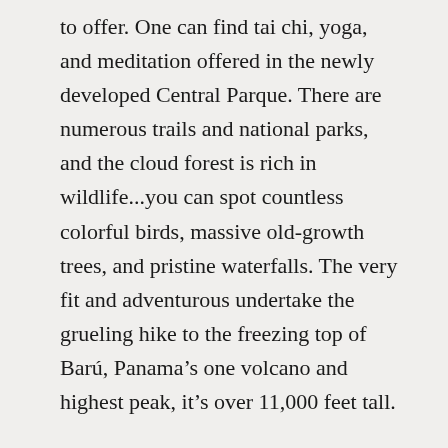to offer. One can find tai chi, yoga, and meditation offered in the newly developed Central Parque. There are numerous trails and national parks, and the cloud forest is rich in wildlife...you can spot countless colorful birds, massive old-growth trees, and pristine waterfalls. The very fit and adventurous undertake the grueling hike to the freezing top of Barú, Panama's one volcano and highest peak, it's over 11,000 feet tall.
One of the biggest benefits of living in Boquete is being able to take advantage of Panama's Pensionado program—the best program of its kind in the world. The main requirement is that